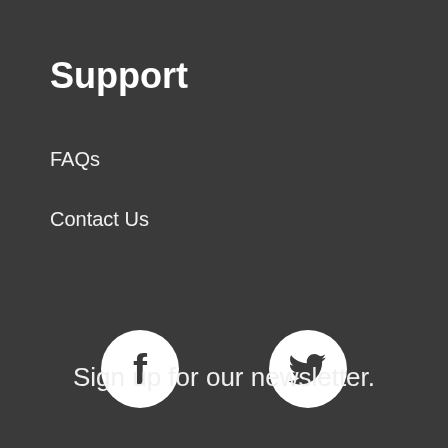Support
FAQs
Contact Us
[Figure (illustration): Two white circular social media icons on dark background: Facebook (f) icon on the left and Twitter (bird) icon on the right]
Sign up for our newsletter.